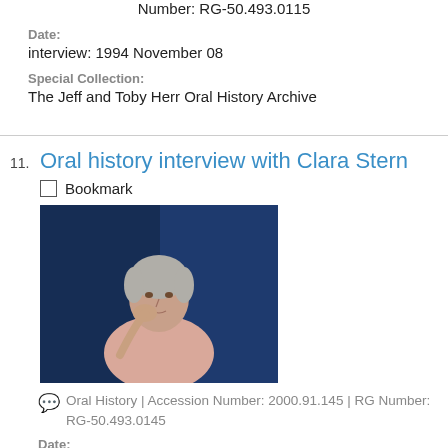Number: RG-50.493.0115
Date:
interview: 1994 November 08
Special Collection:
The Jeff and Toby Herr Oral History Archive
11. Oral history interview with Clara Stern
Bookmark
[Figure (photo): Photograph of an elderly woman with gray hair, resting her chin on her hand, wearing a light pink top, seated in front of a blue curtain background.]
Oral History | Accession Number: 2000.91.145 | RG Number: RG-50.493.0145
Date:
interview: 1995 April 04